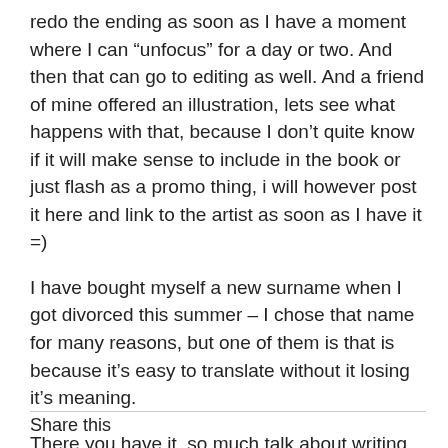redo the ending as soon as I have a moment where I can “unfocus” for a day or two. And then that can go to editing as well. And a friend of mine offered an illustration, lets see what happens with that, because I don’t quite know if it will make sense to include in the book or just flash as a promo thing, i will however post it here and link to the artist as soon as I have it =)
I have bought myself a new surname when I got divorced this summer – I chose that name for many reasons, but one of them is that is because it’s easy to translate without it losing it’s meaning.
There you have it, so much talk about writing without anything to show.. its the fucking story of my life.
Share this